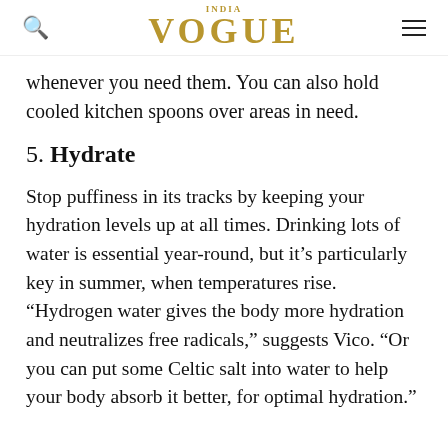VOGUE
whenever you need them. You can also hold cooled kitchen spoons over areas in need.
5. Hydrate
Stop puffiness in its tracks by keeping your hydration levels up at all times. Drinking lots of water is essential year-round, but it’s particularly key in summer, when temperatures rise. “Hydrogen water gives the body more hydration and neutralizes free radicals,” suggests Vico. “Or you can put some Celtic salt into water to help your body absorb it better, for optimal hydration.”